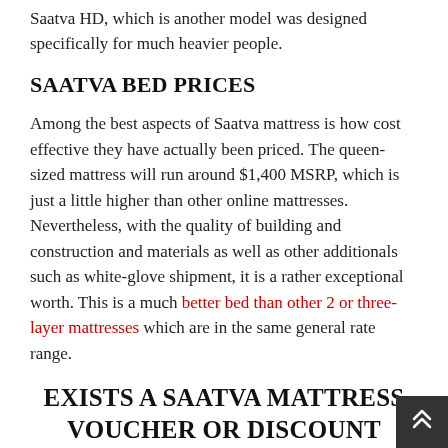Saatva HD, which is another model was designed specifically for much heavier people.
SAATVA BED PRICES
Among the best aspects of Saatva mattress is how cost effective they have actually been priced. The queen-sized mattress will run around $1,400 MSRP, which is just a little higher than other online mattresses. Nevertheless, with the quality of building and construction and materials as well as other additionals such as white-glove shipment, it is a rather exceptional worth. This is a much better bed than other 2 or three-layer mattresses which are in the same general rate range.
EXISTS A SAATVA MATTRESS VOUCHER OR DISCOUNT RATE CODE?